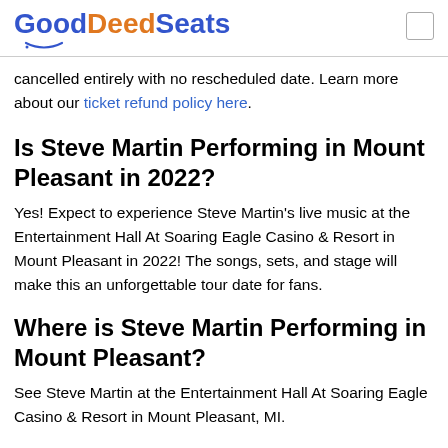GoodDeedSeats
cancelled entirely with no rescheduled date. Learn more about our ticket refund policy here.
Is Steve Martin Performing in Mount Pleasant in 2022?
Yes! Expect to experience Steve Martin's live music at the Entertainment Hall At Soaring Eagle Casino & Resort in Mount Pleasant in 2022! The songs, sets, and stage will make this an unforgettable tour date for fans.
Where is Steve Martin Performing in Mount Pleasant?
See Steve Martin at the Entertainment Hall At Soaring Eagle Casino & Resort in Mount Pleasant, MI.
When will Steve Martin be at the